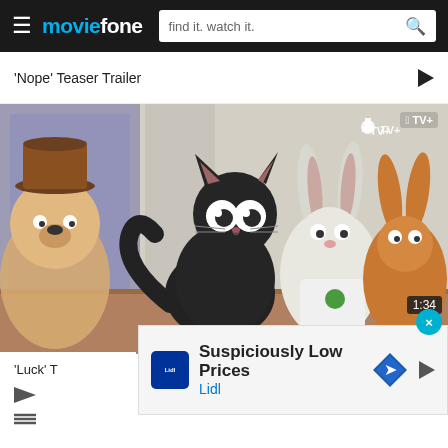moviefone | find it. watch it.
'Nope' Teaser Trailer
[Figure (screenshot): Animation screenshot showing a black cat and two bunny characters from the movie 'Luck' (Apple TV+). Scene appears to be inside a building lobby. Apple TV+ watermark visible in top right.]
'Luck' T
Suspiciously Low Prices
Lidl